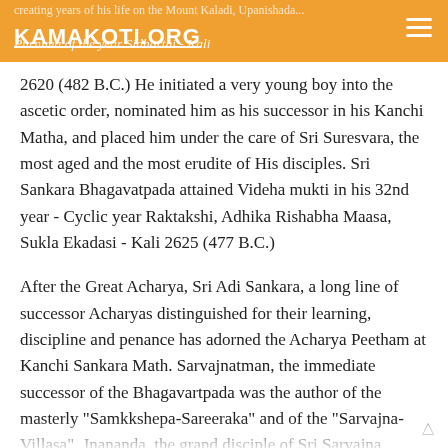KAMAKOTI.ORG — Purnima of the year Sidharthi - Kali...
2620 (482 B.C.) He initiated a very young boy into the ascetic order, nominated him as his successor in his Kanchi Matha, and placed him under the care of Sri Suresvara, the most aged and the most erudite of His disciples. Sri Sankara Bhagavatpada attained Videha mukti in his 32nd year - Cyclic year Raktakshi, Adhika Rishabha Maasa, Sukla Ekadasi - Kali 2625 (477 B.C.)
After the Great Acharya, Sri Adi Sankara, a long line of successor Acharyas distinguished for their learning, discipline and penance has adorned the Acharya Peetham at Kanchi Sankara Math. Sarvajnatman, the immediate successor of the Bhagavartpada was the author of the masterly "Samkkshepa-Sareeraka" and of the "Sarvajna-Villasa". Jnananda, the grand disciple of Sri Sarvajnatman...